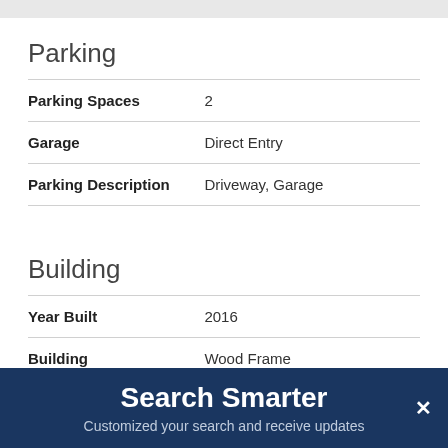Parking
| Field | Value |
| --- | --- |
| Parking Spaces | 2 |
| Garage | Direct Entry |
| Parking Description | Driveway, Garage |
Building
| Field | Value |
| --- | --- |
| Year Built | 2016 |
| Building Construction | Wood Frame |
Search Smarter
Customized your search and receive updates